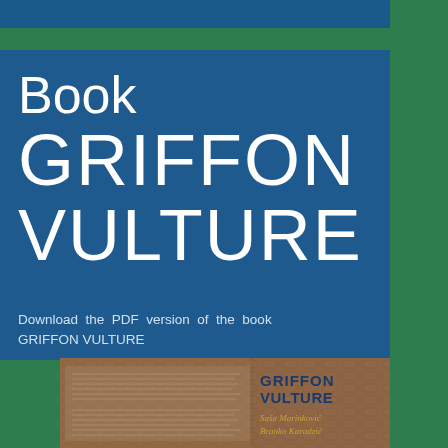Book GRIFFON VULTURE
Download the PDF version of the book GRIFFON VULTURE
[Figure (photo): Book cover of GRIFFON VULTURE by Saša Marinković and Branko Karadzić, showing a close-up texture of griffon vulture feathers/skin in brown tones, with the book title in dark blue text and authors' names in gold italic text.]